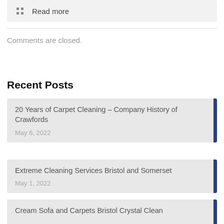Read more
Comments are closed.
Recent Posts
20 Years of Carpet Cleaning – Company History of Crawfords
May 6, 2022
Extreme Cleaning Services Bristol and Somerset
May 1, 2022
Cream Sofa and Carpets Bristol Crystal Clean